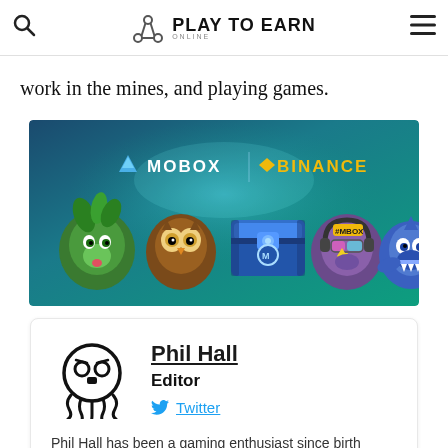Play To Earn Online
work in the mines, and playing games.
[Figure (illustration): MOBOX and Binance promotional banner showing cartoon game characters (a green monkey, a brown owl, a blue loot chest, a cool character with sunglasses and #MBOX label, and a blue shark) on a teal gradient background.]
Phil Hall
Editor
Twitter
Phil Hall has been a gaming enthusiast since birth